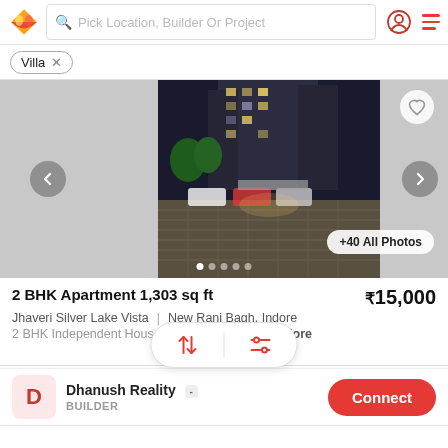Pick Location, Builder Or Project
Villa ×
[Figure (photo): Night-time photo of an apartment building driveway with parked cars and lit walkway]
2 BHK Apartment 1,303 sq ft  ₹15,000
Jhaveri Silver Lake Vista  |  New Rani Bagh, Indore
2 BHK Independent House... New Rani Bagh I...  More
Dhanush Reality  BUILDER
Connect